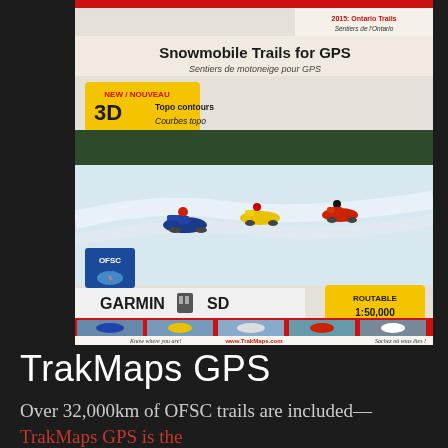[Figure (photo): Product image of TrakMaps GPS SD card for Garmin showing Ontario snowmobile trails. Cover shows snowmobilers on snowy trails, OFSC logo, Garmin SD card branding, '2015: Ontario Trails / Sentiers de l'Ontario', 'Snowmobile Trails for GPS / Sentiers de motoneige pour GPS', 'NEW / NOUVEAU 3D Topo contours / Courbes topo', 'ROUTABLE 1:50,000', www.TrakMaps.com]
TrakMaps GPS
Over 32,000km of OFSC trails are included—TrakMaps GPS is the